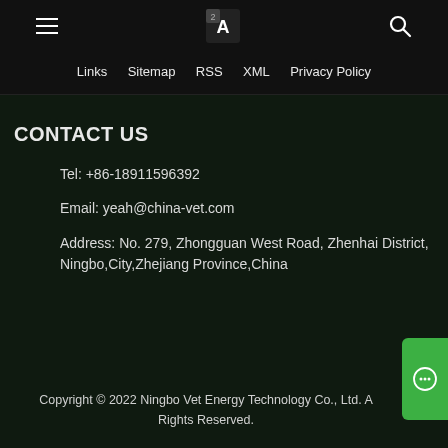≡  [logo]  🔍
Links  Sitemap  RSS  XML  Privacy Policy
CONTACT US
Tel: +86-18911596392
Email: yeah@china-vet.com
Address: No. 279, Zhongguan West Road, Zhenhai District, Ningbo,City,Zhejiang Province,China
Copyright © 2022 Ningbo Vet Energy Technology Co., Ltd. All Rights Reserved.